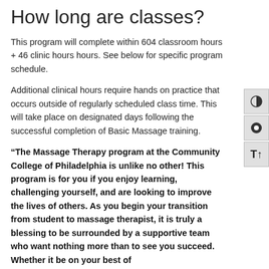How long are classes?
This program will complete within 604 classroom hours + 46 clinic hours hours. See below for specific program schedule.
Additional clinical hours require hands on practice that occurs outside of regularly scheduled class time. This will take place on designated days following the successful completion of Basic Massage training.
“The Massage Therapy program at the Community College of Philadelphia is unlike no other! This program is for you if you enjoy learning, challenging yourself, and are looking to improve the lives of others. As you begin your transition from student to massage therapist, it is truly a blessing to be surrounded by a supportive team who want nothing more than to see you succeed. Whether it be on your best of